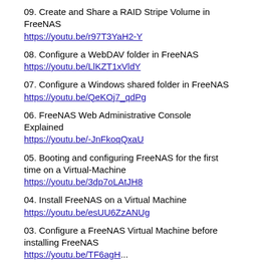09. Create and Share a RAID Stripe Volume in FreeNAS
https://youtu.be/r97T3YaH2-Y
08. Configure a WebDAV folder in FreeNAS
https://youtu.be/LlKZT1xVldY
07. Configure a Windows shared folder in FreeNAS
https://youtu.be/QeKOj7_qdPg
06. FreeNAS Web Administrative Console Explained
https://youtu.be/-JnFkoqQxaU
05. Booting and configuring FreeNAS for the first time on a Virtual-Machine
https://youtu.be/3dp7oLAtJH8
04. Install FreeNAS on a Virtual Machine
https://youtu.be/esUU6ZzANUg
03. Configure a FreeNAS Virtual Machine before installing FreeNAS
https://youtu.be/TF6agH...